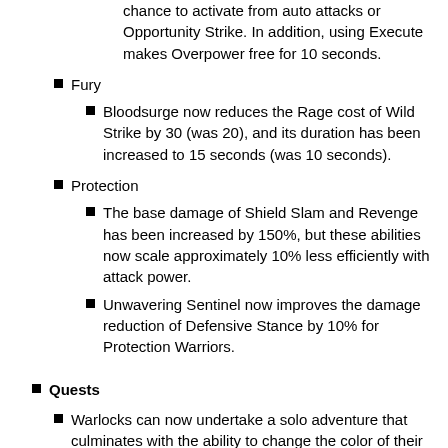chance to activate from auto attacks or Opportunity Strike. In addition, using Execute makes Overpower free for 10 seconds.
Fury
Bloodsurge now reduces the Rage cost of Wild Strike by 30 (was 20), and its duration has been increased to 15 seconds (was 10 seconds).
Protection
The base damage of Shield Slam and Revenge has been increased by 150%, but these abilities now scale approximately 10% less efficiently with attack power.
Unwavering Sentinel now improves the damage reduction of Defensive Stance by 10% for Protection Warriors.
Quests
Warlocks can now undertake a solo adventure that culminates with the ability to change the color of their